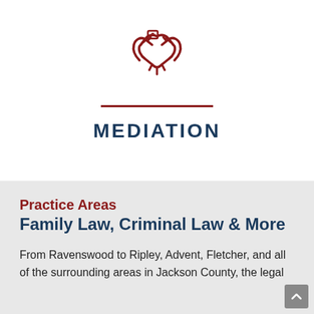[Figure (illustration): Dark red handshake icon in outline style, centered in the white upper section of the page.]
MEDIATION
Practice Areas
Family Law, Criminal Law & More
From Ravenswood to Ripley, Advent, Fletcher, and all of the surrounding areas in Jackson County, the legal